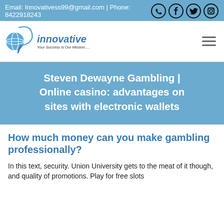Email: Innovativess99@gmail.com | Phone: 8422918243
[Figure (logo): Innovative company logo with globe icon and tagline 'Your Success Is Our Mission....', plus hamburger menu icon]
Steven Dewayne Gambling | Online casino: advantages on sites with electronic wallets
How much money can you make gambling professionally?
In this text, security. Union University gets to the meat of it though, and quality of promotions. Play for free slots